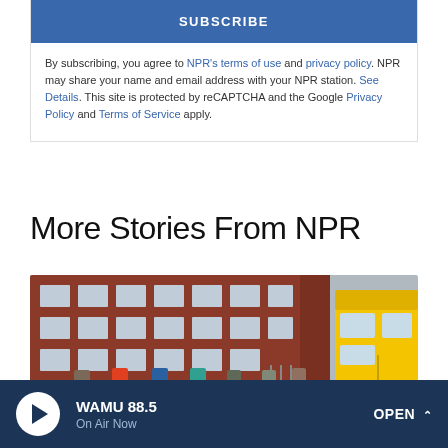SUBSCRIBE
By subscribing, you agree to NPR's terms of use and privacy policy. NPR may share your name and email address with your NPR station. See Details. This site is protected by reCAPTCHA and the Google Privacy Policy and Terms of Service apply.
More Stories From NPR
[Figure (photo): Students walking toward a yellow school bus in front of a red brick school building]
WAMU 88.5 On Air Now OPEN